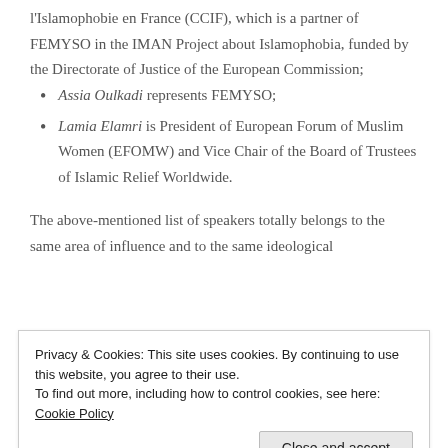l'Islamophobie en France (CCIF), which is a partner of FEMYSO in the IMAN Project about Islamophobia, funded by the Directorate of Justice of the European Commission;
Assia Oulkadi represents FEMYSO;
Lamia Elamri is President of European Forum of Muslim Women (EFOMW) and Vice Chair of the Board of Trustees of Islamic Relief Worldwide.
The above-mentioned list of speakers totally belongs to the same area of influence and to the same ideological
Privacy & Cookies: This site uses cookies. By continuing to use this website, you agree to their use.
To find out more, including how to control cookies, see here: Cookie Policy